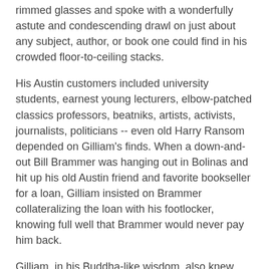rimmed glasses and spoke with a wonderfully astute and condescending drawl on just about any subject, author, or book one could find in his crowded floor-to-ceiling stacks.
His Austin customers included university students, earnest young lecturers, elbow-patched classics professors, beatniks, artists, activists, journalists, politicians -- even old Harry Ransom depended on Gilliam's finds. When a down-and-out Bill Brammer was hanging out in Bolinas and hit up his old Austin friend and favorite bookseller for a loan, Gilliam insisted on Brammer collateralizing the loan with his footlocker, knowing full well that Brammer would never pay him back.
Gilliam, in his Buddha-like wisdom, also knew that someday, somehow, the contents of that footlocker would be important to somebody. So he sold it to Joe and Trudi Watson because he knew they were the kind of collectors who would never exploit the contents by separating and selling each piece individually -- and what a treasure trove it was!
The footlocker was filled with correspondence between